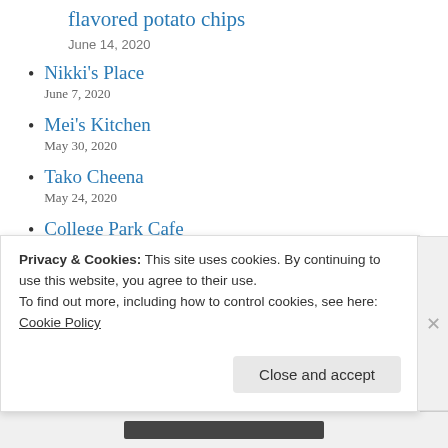flavored potato chips
June 14, 2020
Nikki's Place
June 7, 2020
Mei's Kitchen
May 30, 2020
Tako Cheena
May 24, 2020
College Park Cafe
May 16, 2020
Light on the Sugar Bakery
Privacy & Cookies: This site uses cookies. By continuing to use this website, you agree to their use.
To find out more, including how to control cookies, see here:
Cookie Policy
Close and accept